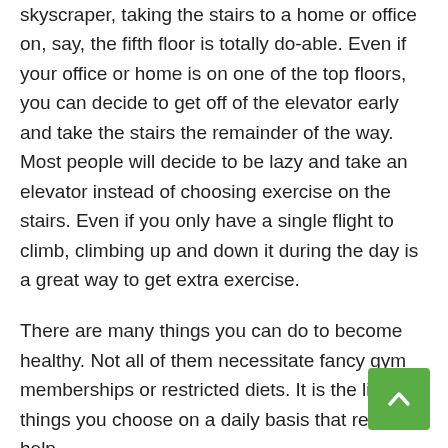skyscraper, taking the stairs to a home or office on, say, the fifth floor is totally do-able. Even if your office or home is on one of the top floors, you can decide to get off of the elevator early and take the stairs the remainder of the way. Most people will decide to be lazy and take an elevator instead of choosing exercise on the stairs. Even if you only have a single flight to climb, climbing up and down it during the day is a great way to get extra exercise.
There are many things you can do to become healthy. Not all of them necessitate fancy gym memberships or restricted diets. It is the little things you choose on a daily basis that really help